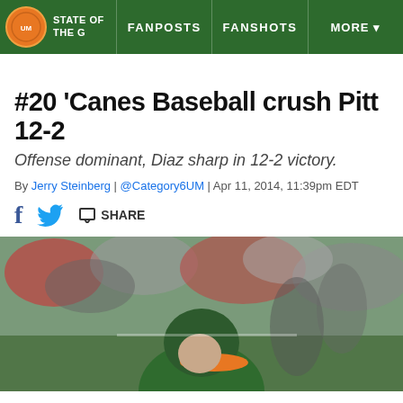STATE OF THE G — FANPOSTS | FANSHOTS | MORE
#20 'Canes Baseball crush Pitt 12-2
Offense dominant, Diaz sharp in 12-2 victory.
By Jerry Steinberg | @Category6UM | Apr 11, 2014, 11:39pm EDT
[Figure (photo): Baseball player wearing green helmet with orange brim at a game, crowd visible in background]